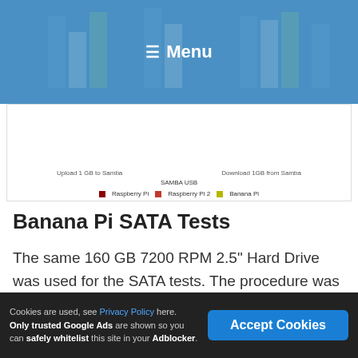[Figure (screenshot): Navigation bar with blue background showing hamburger menu icon and 'Menu' text in white, with partial bar chart visible in background]
[Figure (bar-chart): Partial bar chart showing 'Upload 1 GB to Samba' and 'Download 1GB from Samba' comparisons for Raspberry Pi, Raspberry Pi 2, and Banana Pi. Title: SAMBA USB. Legend shows three colored squares.]
Banana Pi SATA Tests
The same 160 GB 7200 RPM 2.5" Hard Drive was used for the SATA tests. The procedure was identical to the USB tests except the hard drive was connected via SATA.
Cookies are used, see Privacy Policy here. Only trusted Google Ads are shown so you can safely whitelist this site in your Adblocker.